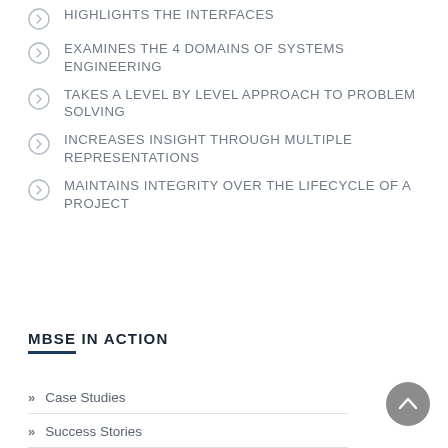HIGHLIGHTS THE INTERFACES
EXAMINES THE 4 DOMAINS OF SYSTEMS ENGINEERING
TAKES A LEVEL BY LEVEL APPROACH TO PROBLEM SOLVING
INCREASES INSIGHT THROUGH MULTIPLE REPRESENTATIONS
MAINTAINS INTEGRITY OVER THE LIFECYCLE OF A PROJECT
MBSE IN ACTION
Case Studies
Success Stories